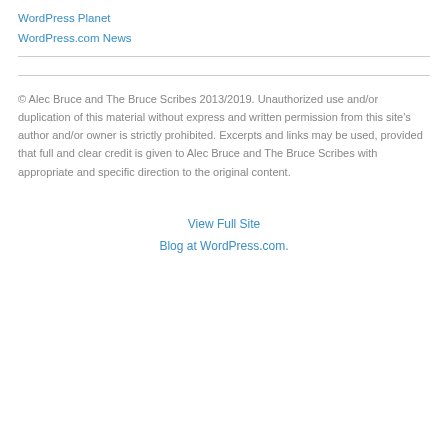WordPress Planet
WordPress.com News
© Alec Bruce and The Bruce Scribes 2013/2019. Unauthorized use and/or duplication of this material without express and written permission from this site's author and/or owner is strictly prohibited. Excerpts and links may be used, provided that full and clear credit is given to Alec Bruce and The Bruce Scribes with appropriate and specific direction to the original content.
View Full Site
Blog at WordPress.com.